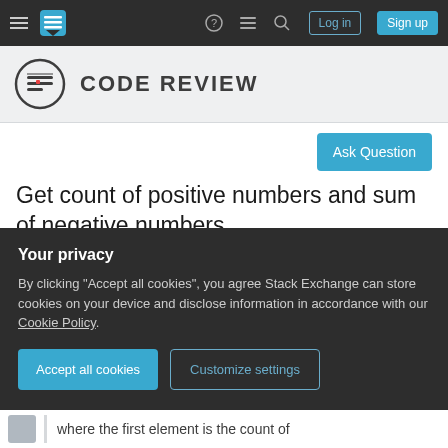Stack Exchange navigation bar with hamburger menu, logo, help, chat, search icons, Log in and Sign up buttons
CODE REVIEW
Ask Question
Get count of positive numbers and sum of negative numbers
Asked 5 years, 11 months ago   Modified 4 years, 6 months ago
Viewed 20k times
Your privacy
By clicking "Accept all cookies", you agree Stack Exchange can store cookies on your device and disclose information in accordance with our Cookie Policy.
Accept all cookies   Customize settings
where the first element is the count of